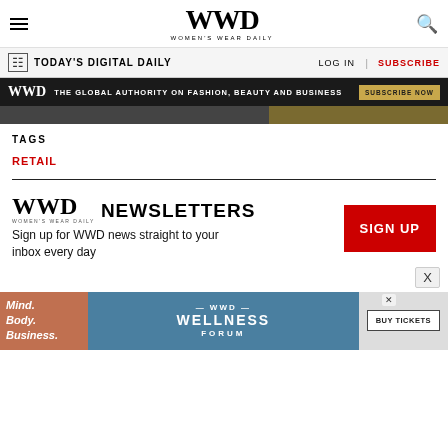WWD WOMEN'S WEAR DAILY
TODAY'S DIGITAL DAILY | LOG IN | SUBSCRIBE
[Figure (infographic): Dark banner ad: WWD logo, THE GLOBAL AUTHORITY ON FASHION, BEAUTY AND BUSINESS, SUBSCRIBE NOW button]
TAGS
RETAIL
[Figure (infographic): WWD NEWSLETTERS logo with SIGN UP button and text: Sign up for WWD news straight to your inbox every day]
[Figure (infographic): Bottom ad banner: Mind. Body. Business. WWD WELLNESS FORUM BUY TICKETS with close X button]